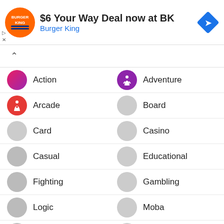[Figure (screenshot): Burger King advertisement banner: '$6 Your Way Deal now at BK' with Burger King logo and navigation icon]
Action
Adventure
Arcade
Board
Card
Casino
Casual
Educational
Fighting
Gambling
Logic
Moba
Music
Puzzle
Racing
Role Playing
RPG
Shooting games